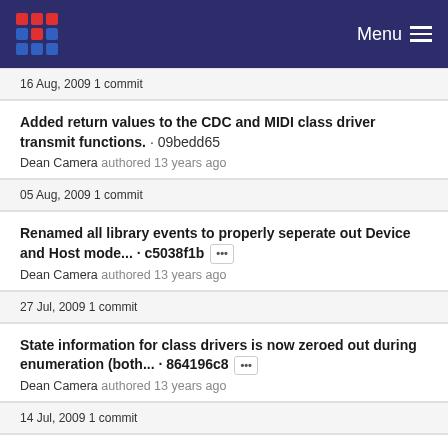Menu
16 Aug, 2009 1 commit
Added return values to the CDC and MIDI class driver transmit functions. · 09bedd65
Dean Camera authored 13 years ago
05 Aug, 2009 1 commit
Renamed all library events to properly seperate out Device and Host mode... · c5038f1b ···
Dean Camera authored 13 years ago
27 Jul, 2009 1 commit
State information for class drivers is now zeroed out during enumeration (both... · 864196c8 ···
Dean Camera authored 13 years ago
14 Jul, 2009 1 commit
Added module file dependancy information to the USB class dri...